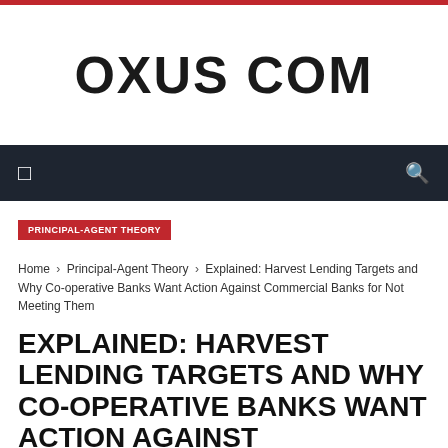OXUS COM
PRINCIPAL-AGENT THEORY
Home › Principal-Agent Theory › Explained: Harvest Lending Targets and Why Co-operative Banks Want Action Against Commercial Banks for Not Meeting Them
EXPLAINED: HARVEST LENDING TARGETS AND WHY CO-OPERATIVE BANKS WANT ACTION AGAINST COMMERCIAL BANKS FOR NOT